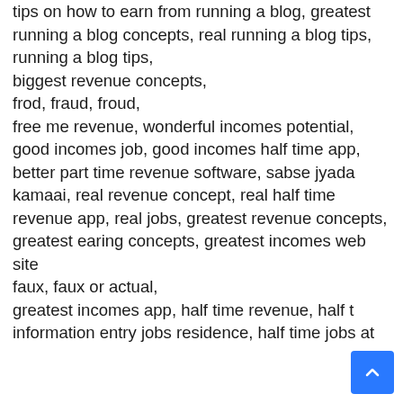tips on how to earn from running a blog, greatest running a blog concepts, real running a blog tips, running a blog tips, biggest revenue concepts, frod, fraud, froud, free me revenue, wonderful incomes potential, good incomes job, good incomes half time app, better part time revenue software, sabse jyada kamaai, real revenue concept, real half time revenue app, real jobs, greatest revenue concepts, greatest earing concepts, greatest incomes web site faux, faux or actual, greatest incomes app, half time revenue, half time information entry jobs residence, half time jobs at